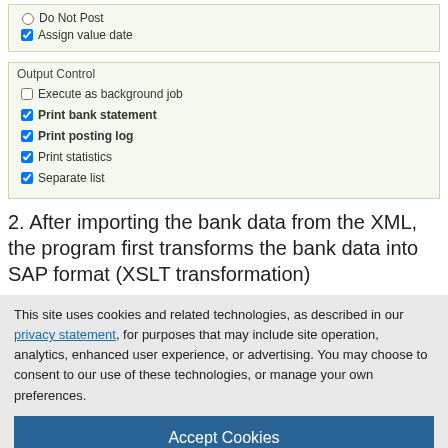[Figure (screenshot): Form section with radio button 'Do Not Post' and checked checkbox 'Assign value date' in a green-tinted bordered box]
[Figure (screenshot): Output Control form section with checkboxes: Execute as background job (unchecked), Print bank statement (checked), Print posting log (checked), Print statistics (checked), Separate list (checked)]
2. After importing the bank data from the XML, the program first transforms the bank data into SAP format (XSLT transformation)
This site uses cookies and related technologies, as described in our privacy statement, for purposes that may include site operation, analytics, enhanced user experience, or advertising. You may choose to consent to our use of these technologies, or manage your own preferences.
Accept Cookies
More Information
Privacy Policy | Powered by: TrustArc
Transaction types in the bank statement and interpretation